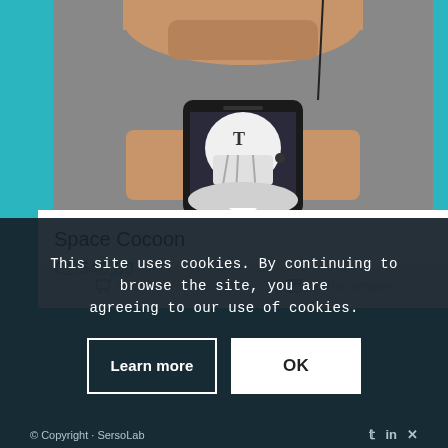[Figure (photo): A person holding a smartphone displaying a black and white photo of an American football player wearing a helmet. The person's lower face and hands are visible. Background appears grainy/static-like.]
Space Cocoon
€1.540,00
This site uses cookies. By continuing to browse the site, you are agreeing to our use of cookies.
Learn more
OK
© Copyright - SersoLab